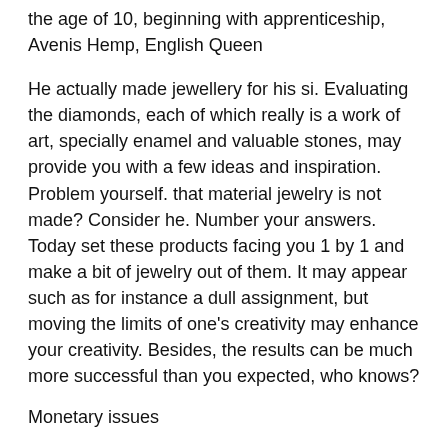the age of 10, beginning with apprenticeship, Avenis Hemp, English Queen
He actually made jewellery for his si. Evaluating the diamonds, each of which really is a work of art, specially enamel and valuable stones, may provide you with a few ideas and inspiration. Problem yourself. that material jewelry is not made? Consider he. Number your answers. Today set these products facing you 1 by 1 and make a bit of jewelry out of them. It may appear such as for instance a dull assignment, but moving the limits of one's creativity may enhance your creativity. Besides, the results can be much more successful than you expected, who knows?
Monetary issues